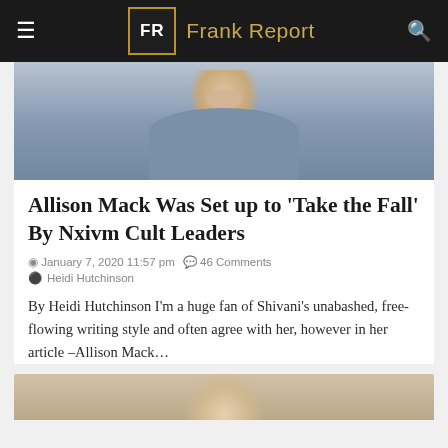FR Frank Report
[Figure (photo): Close-up photo of a person wearing a denim jacket, looking down, cropped at shoulder level]
Allison Mack Was Set up to 'Take the Fall' By Nxivm Cult Leaders
January 7, 2020 11:57 pm   46 Comments
Heidi Hutchinson
By Heidi Hutchinson I'm a huge fan of Shivani's unabashed, free-flowing writing style and often agree with her, however in her article –Allison Mack...
[Figure (photo): Partial photo visible at the bottom of the page, showing a person's face]